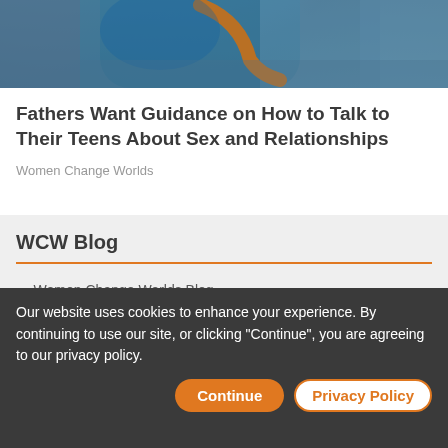[Figure (photo): Photo of a child or teenager in a car with a seatbelt visible, showing blue clothing against the seat]
Fathers Want Guidance on How to Talk to Their Teens About Sex and Relationships
Women Change Worlds
WCW Blog
Women Change Worlds Blog
Search by Tags
Commenting Guidelines
Lively debate and opposing opinions are welcome, but please
Our website uses cookies to enhance your experience. By continuing to use our site, or clicking "Continue", you are agreeing to our privacy policy.